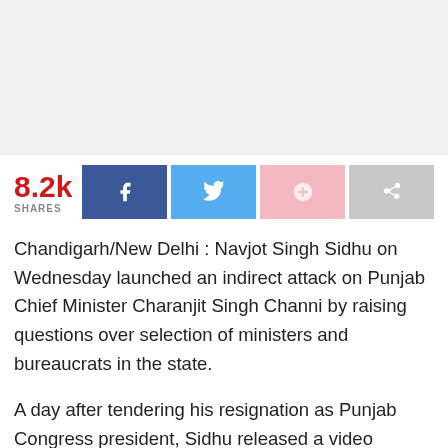[Figure (other): Gray advertisement banner placeholder at the top of the page]
8.2k SHARES
Chandigarh/New Delhi : Navjot Singh Sidhu on Wednesday launched an indirect attack on Punjab Chief Minister Charanjit Singh Channi by raising questions over selection of ministers and bureaucrats in the state.
A day after tendering his resignation as Punjab Congress president, Sidhu released a video message saying he was fighting a “battle of truth”. “My 17 years of political journey has a purpose, to make a difference and to take a stand in politics. This is my duty. I am not fighting any